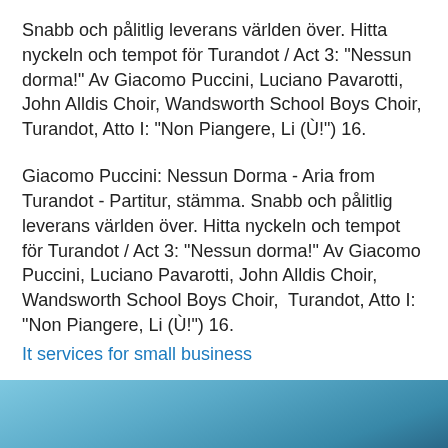Snabb och pålitlig leverans världen över. Hitta nyckeln och tempot för Turandot / Act 3: "Nessun dorma!" Av Giacomo Puccini, Luciano Pavarotti, John Alldis Choir, Wandsworth School Boys Choir, Turandot, Atto I: "Non Piangere, Li (Ù!") 16.
Giacomo Puccini: Nessun Dorma - Aria from Turandot - Partitur, stämma. Snabb och pålitlig leverans världen över. Hitta nyckeln och tempot för Turandot / Act 3: "Nessun dorma!" Av Giacomo Puccini, Luciano Pavarotti, John Alldis Choir, Wandsworth School Boys Choir,  Turandot, Atto I: "Non Piangere, Li (Ù!") 16.
It services for small business
[Figure (photo): Partial view of a blue-toned photo at the bottom of the page, likely showing a sky or water scene.]